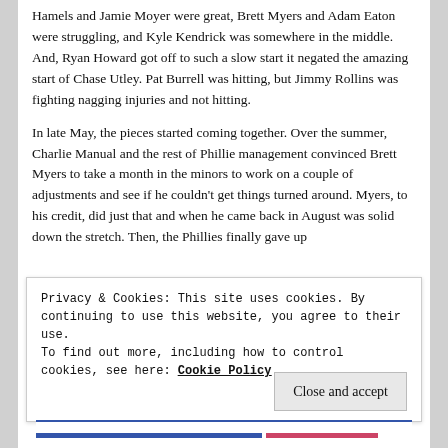Hamels and Jamie Moyer were great, Brett Myers and Adam Eaton were struggling, and Kyle Kendrick was somewhere in the middle.  And, Ryan Howard got off to such a slow start it negated the amazing start of Chase Utley.  Pat Burrell was hitting, but Jimmy Rollins was fighting nagging injuries and not hitting.
In late May, the pieces started coming together.  Over the summer, Charlie Manual and the rest of Phillie management convinced Brett Myers to take a month in the minors to work on a couple of adjustments and see if he couldn't get things turned around.  Myers, to his credit, did just that and when he came back in August was solid down the stretch.  Then, the Phillies finally gave up
Privacy & Cookies: This site uses cookies. By continuing to use this website, you agree to their use.
To find out more, including how to control cookies, see here: Cookie Policy